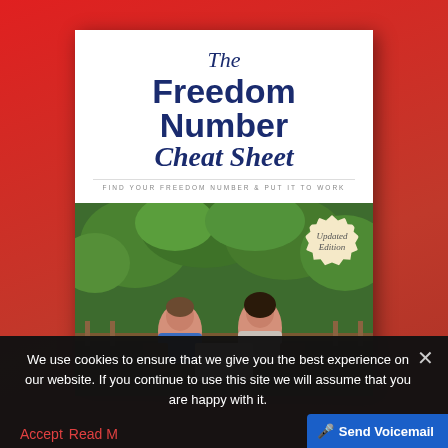[Figure (illustration): Book cover for 'The Freedom Number Cheat Sheet' with subtitle 'Find Your Freedom Number & Put It To Work', showing a couple sitting outdoors reviewing documents, with an 'Updated Edition' badge. Displayed on a red gradient background.]
We use cookies to ensure that we give you the best experience on our website. If you continue to use this site we will assume that you are happy with it.
Accept  Read M...  Send Voicemail